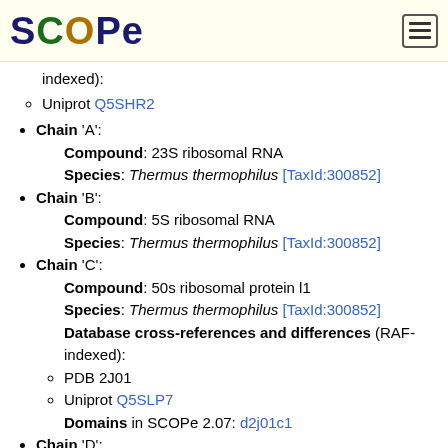SCOPe
indexed):
Uniprot Q5SHR2
Chain 'A': Compound: 23S ribosomal RNA Species: Thermus thermophilus [TaxId:300852]
Chain 'B': Compound: 5S ribosomal RNA Species: Thermus thermophilus [TaxId:300852]
Chain 'C': Compound: 50s ribosomal protein l1 Species: Thermus thermophilus [TaxId:300852] Database cross-references and differences (RAF-indexed): PDB 2J01 Uniprot Q5SLP7 Domains in SCOPe 2.07: d2j01c1
Chain 'D': Compound: 50S ribosomal protein L2 Species: Thermus thermophilus [TaxId:300852] Database cross-references and differences (RAF-indexed):